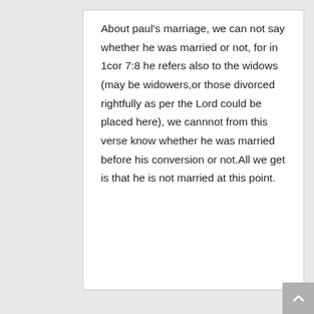About paul's marriage, we can not say whether he was married or not, for in 1cor 7:8 he refers also to the widows (may be widowers,or those divorced rightfully as per the Lord could be placed here), we cannnot from this verse know whether he was married before his conversion or not.All we get is that he is not married at this point.